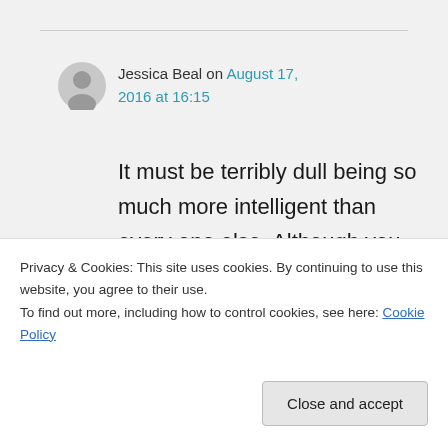Jessica Beal on August 17, 2016 at 16:15
It must be terribly dull being so much more intelligent than every one else. Although you seem to rather enjoy it.
★ Like
Privacy & Cookies: This site uses cookies. By continuing to use this website, you agree to their use.
To find out more, including how to control cookies, see here: Cookie Policy
Close and accept